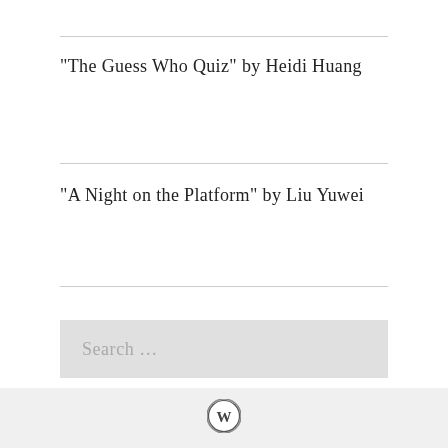"The Guess Who Quiz" by Heidi Huang
"A Night on the Platform" by Liu Yuwei
Search ...
[Figure (logo): WordPress logo - circular W icon in dark on light circle background]